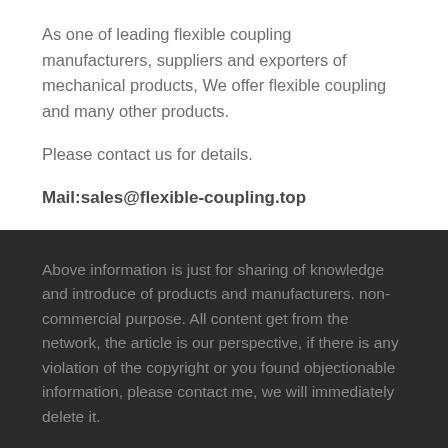As one of leading flexible coupling manufacturers, suppliers and exporters of mechanical products, We offer flexible coupling and many other products.
Please contact us for details.
Mail:sales@flexible-coupling.top
Manufacturer supplier exporter of flexible coupling
Above information is just for sharing of knowledge and introduce of products and manufacturers. non-commercial purpose. All content get from the network, the article is our perspective, if there is any violation of the copyright or you found objectionable information, please contact me, we will immediately delete it.